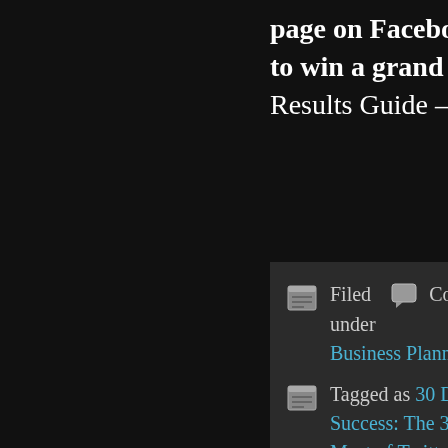page on Facebook and enter for a chance to win a grand prize worth $497! 30 Day Results Guide – https://on.fb.me/sDMf1R
Filed   Comments Off under Business Planning, Gail Z. Martin
Tagged as 30 Days to Online PR and Marketing Success: The 30 Day Results Guide to Making the Most of Twitter, DreamSpinner Communications, Facebook, Gail Z. Martin, intentions, Linked In and Blogging to Grab Headlines and Get Clients by Gail Z. Martin,